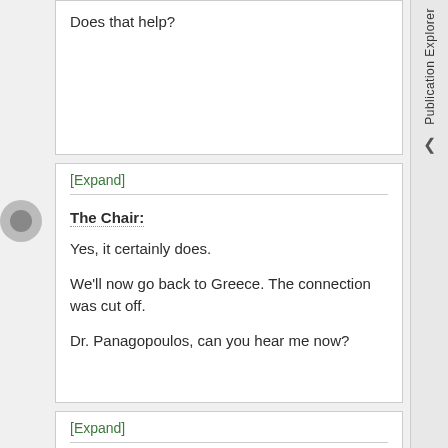Does that help?
[Expand]
The Chair:
Yes, it certainly does.
We'll now go back to Greece. The connection was cut off.
Dr. Panagopoulos, can you hear me now?
[Expand]